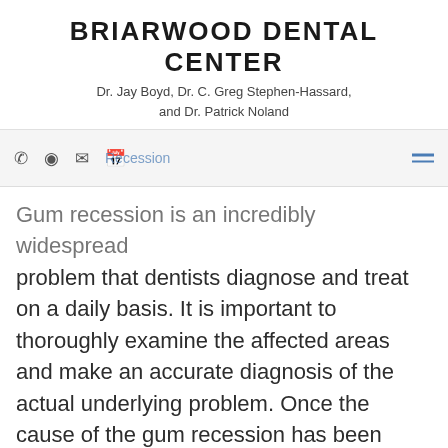BRIARWOOD DENTAL CENTER
Dr. Jay Boyd, Dr. C. Greg Stephen-Hassard, and Dr. Patrick Noland
Gum Recession
Gum recession is an incredibly widespread problem that dentists diagnose and treat on a daily basis. It is important to thoroughly examine the affected areas and make an accurate diagnosis of the actual underlying problem. Once the cause of the gum recession has been determined, surgical and non-surgical procedures can be performed to halt the progress of the recession and